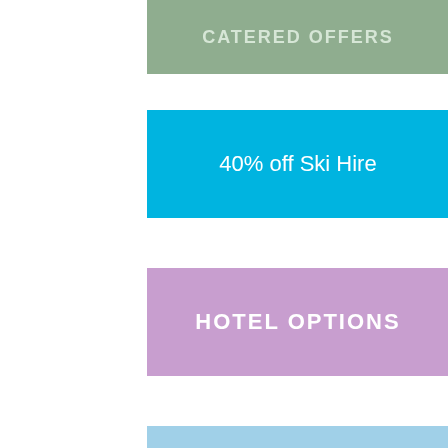CATERED OFFERS
40% off Ski Hire
HOTEL OPTIONS
"just spent a week in Tignes and snow was excellent" more feedback >
Tignes.co.uk are delighted to be supporting the youth charity Snow-Camp